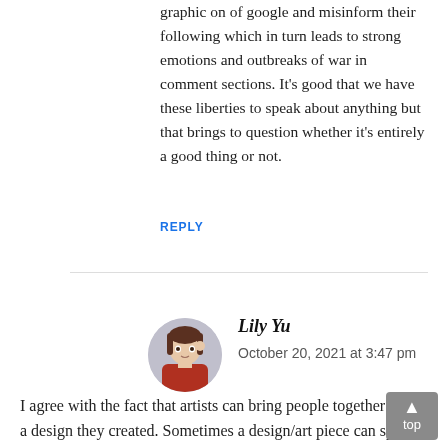graphic on of google and misinform their following which in turn leads to strong emotions and outbreaks of war in comment sections. It's good that we have these liberties to speak about anything but that brings to question whether it's entirely a good thing or not.
REPLY
[Figure (illustration): Circular avatar image of an anime-style character wearing a red hoodie]
Lily Yu
October 20, 2021 at 3:47 pm
I agree with the fact that artists can bring people together with a design they created. Sometimes a design/art piece can speak louder than words, and that it can reach people you would never expect to reach.